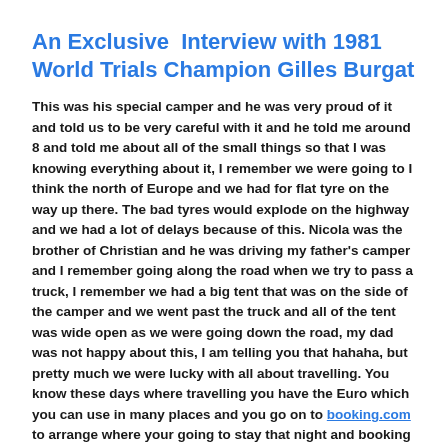An Exclusive Interview with 1981 World Trials Champion Gilles Burgat
This was his special camper and he was very proud of it and told us to be very careful with it and he told me around 8 and told me about all of the small things so that I was knowing everything about it, I remember we were going to I think the north of Europe and we had for flat tyre on the way up there. The bad tyres would explode on the highway and we had a lot of delays because of this. Nicola was the brother of Christian and he was driving my father's camper and I remember going along the road when we try to pass a truck, I remember we had a big tent that was on the side of the camper and we went past the truck and all of the tent was wide open as we were going down the road, my dad was not happy about this, I am telling you that hahaha, but pretty much we were lucky with all about travelling. You know these days where travelling you have the Euro which you can use in many places and you go on to booking.com to arrange where your going to stay that night and booking a room for